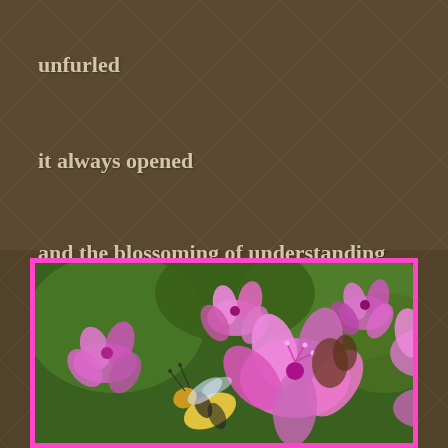unfurled
it always opened
and the blossoming of understanding
would open too
[Figure (photo): Close-up macro photograph of pink/purple flowers with a bumblebee, framed with a bright magenta/pink border. Green blurred background, bee visible in lower center visiting the blooms.]